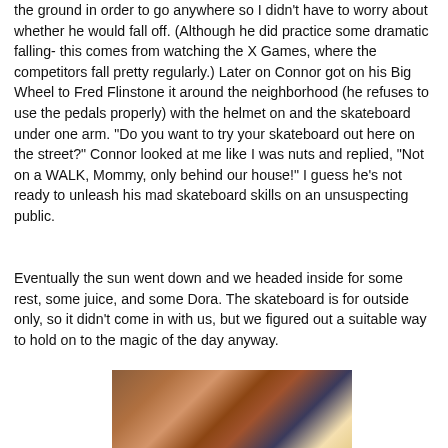the ground in order to go anywhere so I didn't have to worry about whether he would fall off. (Although he did practice some dramatic falling- this comes from watching the X Games, where the competitors fall pretty regularly.) Later on Connor got on his Big Wheel to Fred Flinstone it around the neighborhood (he refuses to use the pedals properly) with the helmet on and the skateboard under one arm. "Do you want to try your skateboard out here on the street?" Connor looked at me like I was nuts and replied, "Not on a WALK, Mommy, only behind our house!" I guess he's not ready to unleash his mad skateboard skills on an unsuspecting public.
Eventually the sun went down and we headed inside for some rest, some juice, and some Dora. The skateboard is for outside only, so it didn't come in with us, but we figured out a suitable way to hold on to the magic of the day anyway.
[Figure (photo): Interior photo showing a brick fireplace with framed pictures on the mantle, warm lighting, and what appears to be a child in the foreground.]